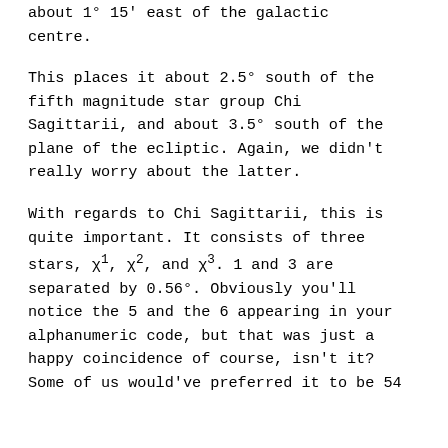about 1° 15' east of the galactic centre.
This places it about 2.5° south of the fifth magnitude star group Chi Sagittarii, and about 3.5° south of the plane of the ecliptic. Again, we didn't really worry about the latter.
With regards to Chi Sagittarii, this is quite important. It consists of three stars, χ¹, χ², and χ³. 1 and 3 are separated by 0.56°. Obviously you'll notice the 5 and the 6 appearing in your alphanumeric code, but that was just a happy coincidence of course, isn't it? Some of us would've preferred it to be 54